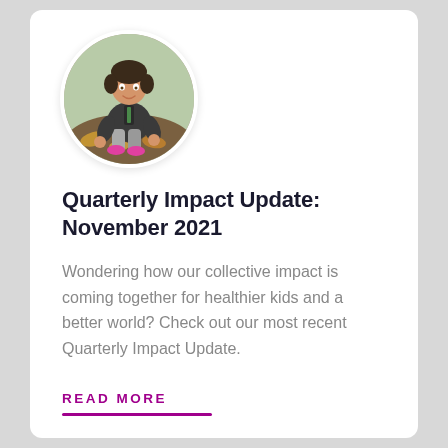[Figure (photo): Circular cropped photo of a young child crouching outdoors in autumn, wearing a grey hoodie and pink shoes, surrounded by fallen leaves.]
Quarterly Impact Update: November 2021
Wondering how our collective impact is coming together for healthier kids and a better world? Check out our most recent Quarterly Impact Update.
READ MORE